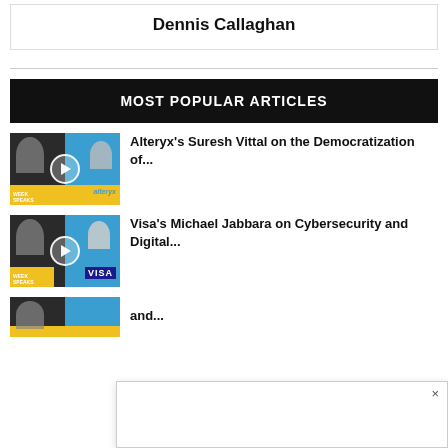Dennis Callaghan
MOST POPULAR ARTICLES
[Figure (photo): Thumbnail image for Alteryx podcast article with play button]
Alteryx's Suresh Vittal on the Democratization of...
[Figure (photo): Thumbnail image for Visa podcast article with play button]
Visa's Michael Jabbara on Cybersecurity and Digital...
[Figure (photo): Partial thumbnail for third article]
and...